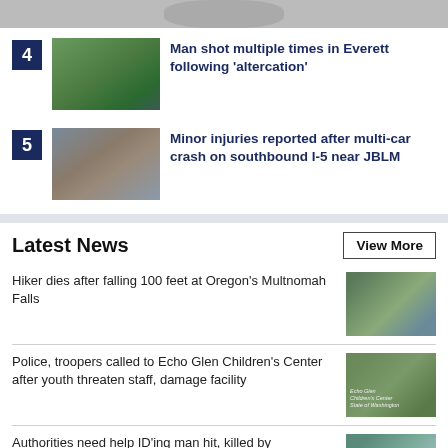[Figure (photo): Partial top image cropped at top]
4
[Figure (photo): News thumbnail: outdoor scene with trees and vehicles]
Man shot multiple times in Everett following 'altercation'
5
[Figure (photo): News thumbnail: multi-car crash scene with emergency vehicles on highway]
Minor injuries reported after multi-car crash on southbound I-5 near JBLM
Latest News
View More
Hiker dies after falling 100 feet at Oregon's Multnomah Falls
[Figure (photo): Ambulance and emergency vehicles at scene]
Police, troopers called to Echo Glen Children's Center after youth threaten staff, damage facility
[Figure (photo): Stone sign for Echo Glen Children's Center, State of Washington]
Authorities need help ID'ing man hit, killed by